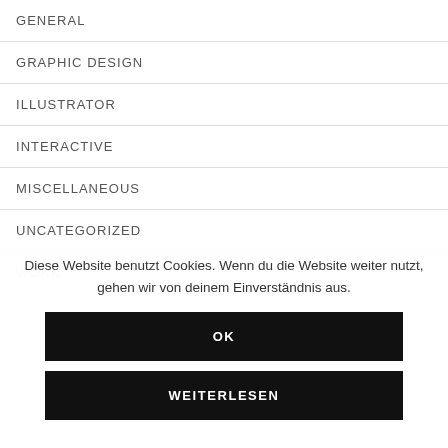GENERAL
GRAPHIC DESIGN
ILLUSTRATOR
INTERACTIVE
MISCELLANEOUS
UNCATEGORIZED
WORK
Diese Website benutzt Cookies. Wenn du die Website weiter nutzt, gehen wir von deinem Einverständnis aus.
OK
WEITERLESEN